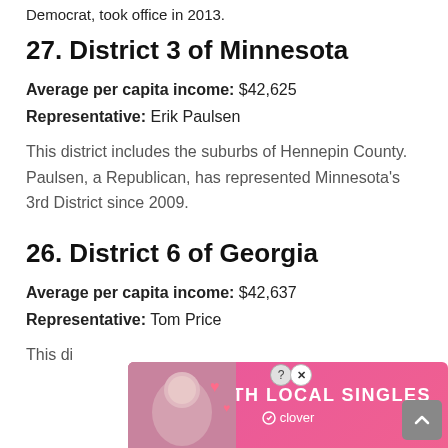Democrat, took office in 2013.
27. District 3 of Minnesota
Average per capita income: $42,625
Representative: Erik Paulsen
This district includes the suburbs of Hennepin County. Paulsen, a Republican, has represented Minnesota's 3rd District since 2009.
26. District 6 of Georgia
Average per capita income: $42,637
Representative: Tom Price
This di...
[Figure (other): Advertisement overlay: Meet with local singles - Clover app ad with photo of woman and pink background]